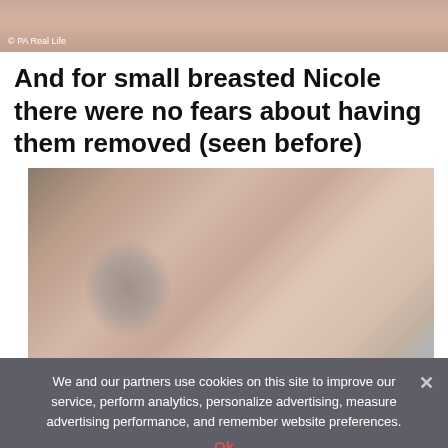[Figure (photo): Top portion of a photo, cropped, showing skin tones and background with a PA Real Life watermark in the lower left corner.]
And for small breasted Nicole there were no fears about having them removed (seen before)
[Figure (photo): Photo of a person showing their chest area post-mastectomy, with a tattoo visible on the left arm. Background shows a grey fabric and a light blue wall.]
We and our partners use cookies on this site to improve our service, perform analytics, personalize advertising, measure advertising performance, and remember website preferences.
Ok